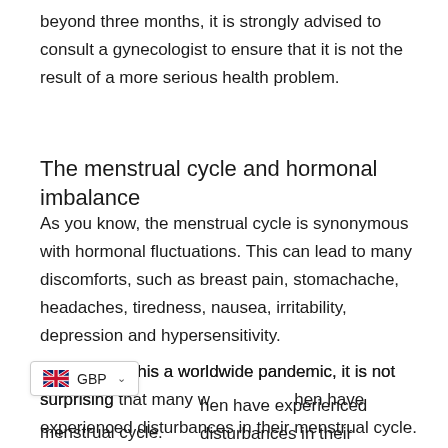beyond three months, it is strongly advised to consult a gynecologist to ensure that it is not the result of a more serious health problem.
The menstrual cycle and hormonal imbalance
As you know, the menstrual cycle is synonymous with hormonal fluctuations. This can lead to many discomforts, such as breast pain, stomachache, headaches, tiredness, nausea, irritability, depression and hypersensitivity.
If we add to this a worldwide pandemic, it is not surprising that many women have experienced disturbances in their menstrual cycle.